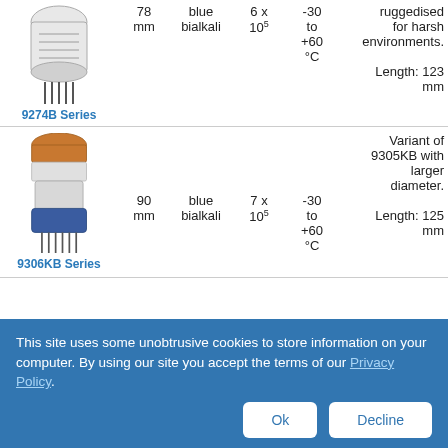[Figure (photo): Photo of a photomultiplier tube (PMT), cylindrical glass with metal pins at bottom]
|  | Diameter | Cathode | Gain | Temp | Notes |
| --- | --- | --- | --- | --- | --- |
| 9274B Series | 78 mm | blue bialkali | 6 x 10^5 | -30 to +60 °C | ruggedised for harsh environments. Length: 123 mm |
| 9306KB Series | 90 mm | blue bialkali | 7 x 10^5 | -30 to +60 °C | Variant of 9305KB with larger diameter. Length: 125 mm |
This site uses some unobtrusive cookies to store information on your computer. By using our site you accept the terms of our Privacy Policy.